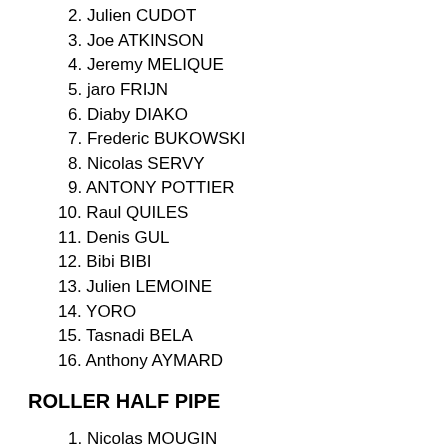2. Julien CUDOT
3. Joe ATKINSON
4. Jeremy MELIQUE
5. jaro FRIJN
6. Diaby DIAKO
7. Frederic BUKOWSKI
8. Nicolas SERVY
9. ANTONY POTTIER
10. Raul QUILES
11. Denis GUL
12. Bibi BIBI
13. Julien LEMOINE
14. YORO
15. Tasnadi BELA
16. Anthony AYMARD
ROLLER HALF PIPE
1. Nicolas MOUGIN
2. Abel MORALES VILERT
3. ...